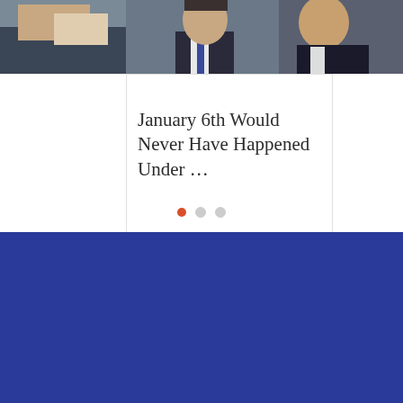[Figure (photo): Top strip showing photos of two men in suits, one on the left partially cropped and one in center-right area, with a partially visible third figure on the far right]
January 6th Would Never Have Happened Under …
👁 5   💬 0   ♡
[Figure (other): Carousel pagination dots: one orange/red filled dot and two gray circle dots]
[Figure (other): Dark navy/blue background footer section with an orange 'back to top' button showing an upward arrow]